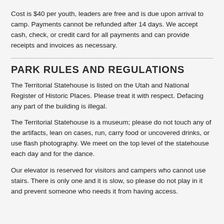Cost is $40 per youth, leaders are free and is due upon arrival to camp. Payments cannot be refunded after 14 days. We accept cash, check, or credit card for all payments and can provide receipts and invoices as necessary.
PARK RULES AND REGULATIONS
The Territorial Statehouse is listed on the Utah and National Register of Historic Places. Please treat it with respect. Defacing any part of the building is illegal.
The Territorial Statehouse is a museum; please do not touch any of the artifacts, lean on cases, run, carry food or uncovered drinks, or use flash photography. We meet on the top level of the statehouse each day and for the dance.
Our elevator is reserved for visitors and campers who cannot use stairs. There is only one and it is slow, so please do not play in it and prevent someone who needs it from having access.